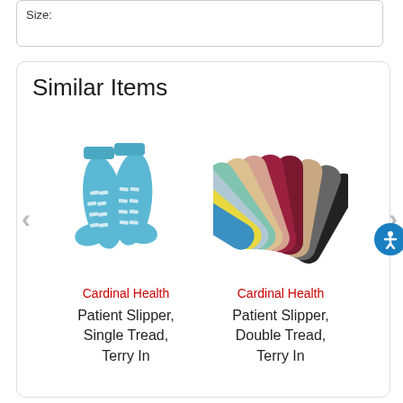Size:
Similar Items
[Figure (photo): Blue patient slipper sock with white non-slip tread pattern on sole]
Cardinal Health
Patient Slipper, Single Tread, Terry In
[Figure (photo): Fan of multiple colored patient slipper socks in various colors including blue, teal, yellow, maroon, tan, gray, and black]
Cardinal Health
Patient Slipper, Double Tread, Terry In